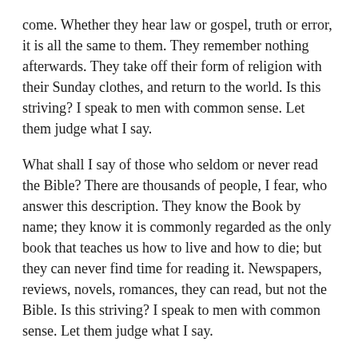come. Whether they hear law or gospel, truth or error, it is all the same to them. They remember nothing afterwards. They take off their form of religion with their Sunday clothes, and return to the world. Is this striving? I speak to men with common sense. Let them judge what I say.
What shall I say of those who seldom or never read the Bible? There are thousands of people, I fear, who answer this description. They know the Book by name; they know it is commonly regarded as the only book that teaches us how to live and how to die; but they can never find time for reading it. Newspapers, reviews, novels, romances, they can read, but not the Bible. Is this striving? I speak to men with common sense. Let them judge what I say.
What shall I say of those who never pray? There are multitudes, I firmly believe, in this condition. Without God they rise in the morning, and without God they lie down at night. They ask for nothing; they confess nothing; they return thanks for nothing; they seek nothing. They are all dying creatures, and yet they are not even